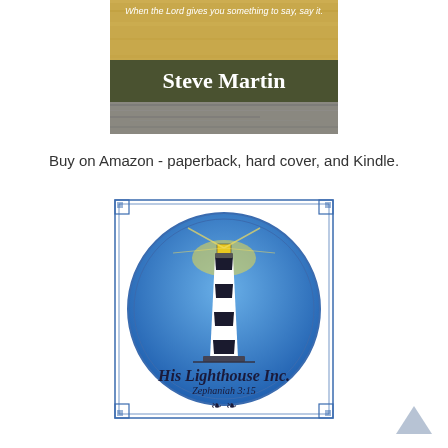[Figure (photo): Partial book cover showing 'Steve Martin' author name on an olive/dark green banner, with sandy and weathered wood textures. Text at top reads 'When the Lord gives you something to say, say it.']
Buy on Amazon - paperback, hard cover, and Kindle.
[Figure (logo): His Lighthouse Inc. logo: circular blue badge with a lighthouse illustration (black and white striped tower with glowing yellow lantern), surrounded by a thin double-line border in a decorative square frame. Text reads 'His Lighthouse Inc.' and 'Zephaniah 3:15' with a small laurel wreath emblem at the bottom.]